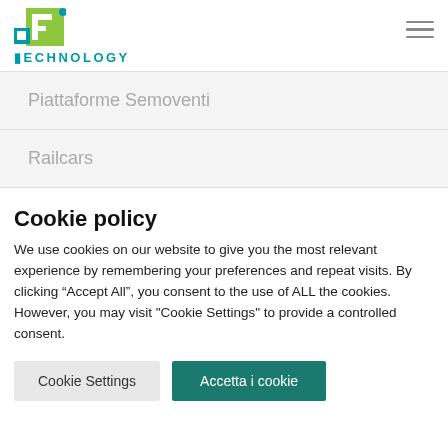[Figure (logo): LE Technology logo with green/teal square icon and TECHNOLOGY text in teal]
Piattaforme Semoventi
Railcars
Cookie policy
We use cookies on our website to give you the most relevant experience by remembering your preferences and repeat visits. By clicking “Accept All”, you consent to the use of ALL the cookies. However, you may visit "Cookie Settings" to provide a controlled consent.
Cookie Settings | Accetta i cookie